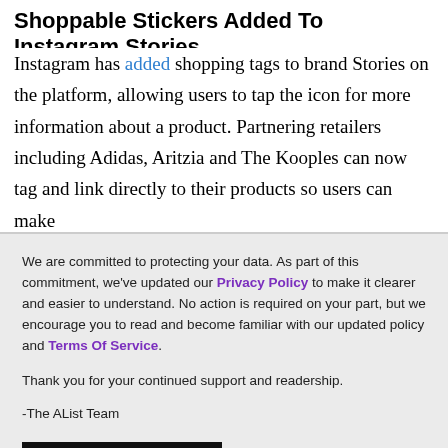Shoppable Stickers Added To Instagram Stories
Instagram has added shopping tags to brand Stories on the platform, allowing users to tap the icon for more information about a product. Partnering retailers including Adidas, Aritzia and The Kooples can now tag and link directly to their products so users can make
We are committed to protecting your data. As part of this commitment, we've updated our Privacy Policy to make it clearer and easier to understand. No action is required on your part, but we encourage you to read and become familiar with our updated policy and Terms Of Service.
Thank you for your continued support and readership.
-The AList Team
ACCEPT